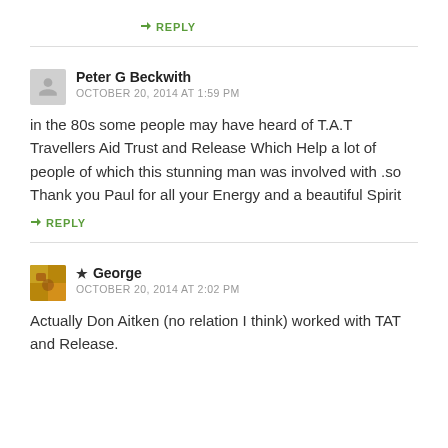↳ REPLY
Peter G Beckwith
OCTOBER 20, 2014 AT 1:59 PM
in the 80s some people may have heard of T.A.T Travellers Aid Trust and Release Which Help a lot of people of which this stunning man was involved with .so Thank you Paul for all your Energy and a beautiful Spirit
↳ REPLY
★ George
OCTOBER 20, 2014 AT 2:02 PM
Actually Don Aitken (no relation I think) worked with TAT and Release.